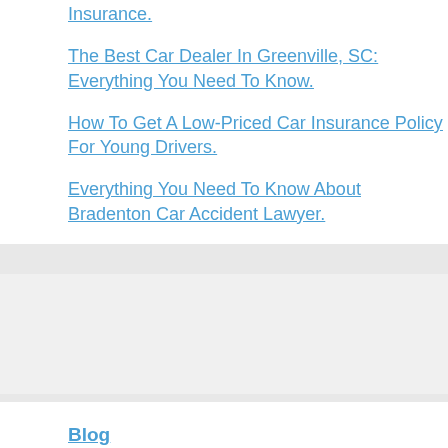Insurance.
The Best Car Dealer In Greenville, SC: Everything You Need To Know.
How To Get A Low-Priced Car Insurance Policy For Young Drivers.
Everything You Need To Know About Bradenton Car Accident Lawyer.
Blog
Bradenton Car
Greenville Car